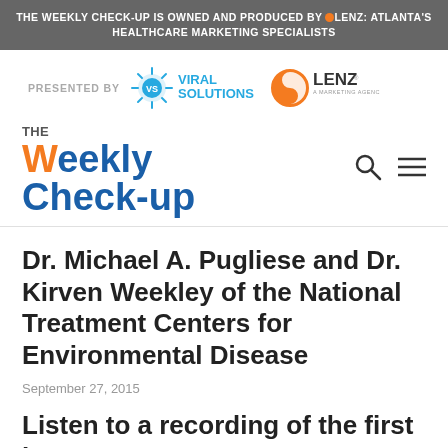THE WEEKLY CHECK-UP IS OWNED AND PRODUCED BY LENZ: ATLANTA'S HEALTHCARE MARKETING SPECIALISTS
[Figure (logo): Presented by logos: Viral Solutions and LENZ A Marketing Agency]
[Figure (logo): The Weekly Check-up site logo with search and menu icons]
Dr. Michael A. Pugliese and Dr. Kirven Weekley of the National Treatment Centers for Environmental Disease
September 27, 2015
Listen to a recording of the first hour